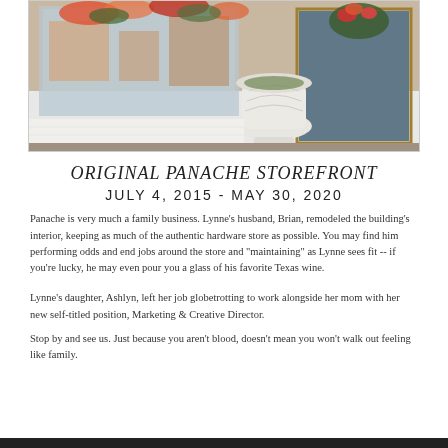[Figure (photo): Storefront photo of Panache showing a white decorative urn planter by the entrance, colorful flowers in window boxes, and a glass storefront window reflecting the shop interior.]
ORIGINAL PANACHE STOREFRONT
JULY 4, 2015 - MAY 30, 2020
Panache is very much a family business.  Lynne's husband, Brian, remodeled the building's interior, keeping as much of the authentic hardware store as possible.  You may find him performing odds and end jobs around the store and "maintaining" as Lynne sees fit -- if you're lucky, he may even pour you a glass of his favorite Texas wine.
Lynne's daughter, Ashlyn, left her job globetrotting to work alongside her mom with her new self-titled position, Marketing & Creative Director.
Stop by and see us.  Just because you aren't blood, doesn't mean you won't walk out feeling like family.